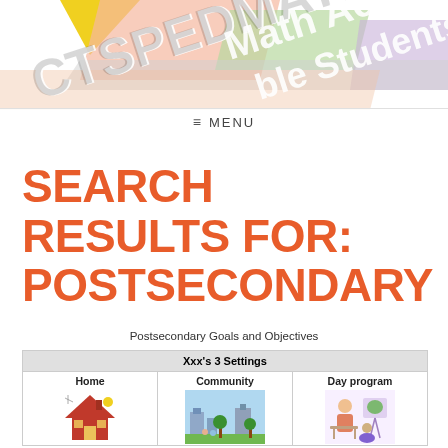[Figure (screenshot): CTSPEDMATh website header banner with colorful geometric shapes and partially visible text reading 'CTSPEDMATh Accessible Math for Students']
≡  MENU
SEARCH RESULTS FOR: POSTSECONDARY
Postsecondary Goals and Objectives
| Xxx's 3 Settings |  |  |
| --- | --- | --- |
| Home | Community | Day program |
| [house illustration] | [park/community illustration] | [day program illustration] |